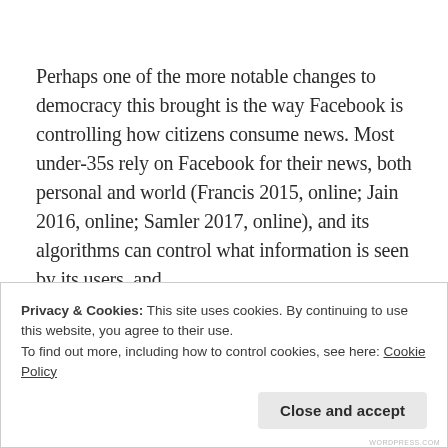Perhaps one of the more notable changes to democracy this brought is the way Facebook is controlling how citizens consume news. Most under-35s rely on Facebook for their news, both personal and world (Francis 2015, online; Jain 2016, online; Samler 2017, online), and its algorithms can control what information is seen by its users, and,
Privacy & Cookies: This site uses cookies. By continuing to use this website, you agree to their use.
To find out more, including how to control cookies, see here: Cookie Policy